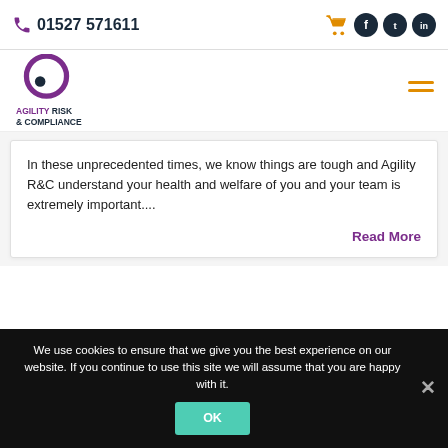01527 571611
[Figure (logo): Agility Risk & Compliance logo with circular purple icon and text]
In these unprecedented times, we know things are tough and Agility R&C understand your health and welfare of you and your team is extremely important....
Read More
We use cookies to ensure that we give you the best experience on our website. If you continue to use this site we will assume that you are happy with it.